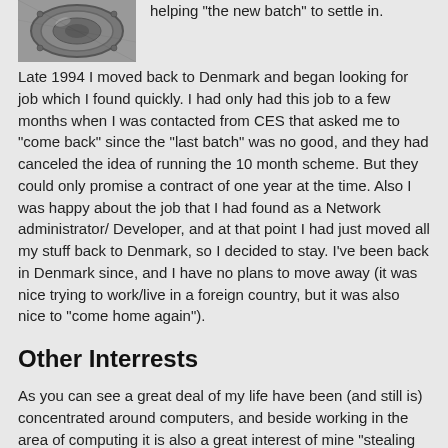[Figure (photo): Close-up photo of a metallic circular object, possibly a lens or mechanical part]
helping "the new batch" to settle in.

Late 1994 I moved back to Denmark and began looking for job which I found quickly. I had only had this job to a few months when I was contacted from CES that asked me to "come back" since the "last batch" was no good, and they had canceled the idea of running the 10 month scheme. But they could only promise a contract of one year at the time. Also I was happy about the job that I had found as a Network administrator/ Developer, and at that point I had just moved all my stuff back to Denmark, so I decided to stay. I've been back in Denmark since, and I have no plans to move away (it was nice trying to work/live in a foreign country, but it was also nice to "come home again").
Other Interrests
As you can see a great deal of my life have been (and still is) concentrated around computers, and beside working in the area of computing it is also a great interest of mine "stealing my spare time". Here at home is where I try to "learn new tricks" and in general keep up with what is going on. However beside computers I do keep other interests as well that I try go allocate time for: